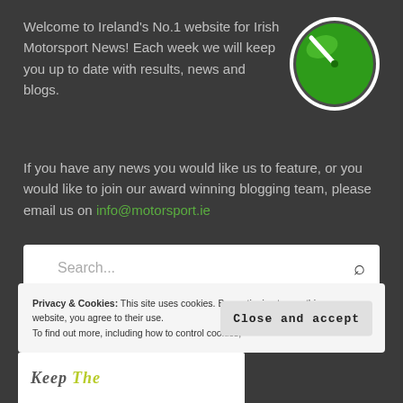Welcome to Ireland's No.1 website for Irish Motorsport News! Each week we will keep you up to date with results, news and blogs.
[Figure (logo): Green oval speedometer logo with white needle and white border]
If you have any news you would like us to feature, or you would like to join our award winning blogging team, please email us on info@motorsport.ie
Search...
Privacy & Cookies: This site uses cookies. By continuing to use this website, you agree to their use. To find out more, including how to control cookies,
Close and accept